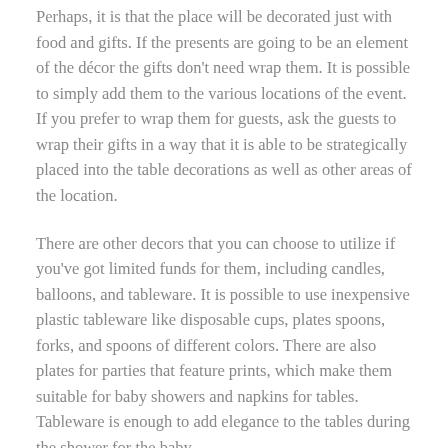Perhaps, it is that the place will be decorated just with food and gifts. If the presents are going to be an element of the décor the gifts don't need wrap them. It is possible to simply add them to the various locations of the event. If you prefer to wrap them for guests, ask the guests to wrap their gifts in a way that it is able to be strategically placed into the table decorations as well as other areas of the location.
There are other decors that you can choose to utilize if you've got limited funds for them, including candles, balloons, and tableware. It is possible to use inexpensive plastic tableware like disposable cups, plates spoons, forks, and spoons of different colors. There are also plates for parties that feature prints, which make them suitable for baby showers and napkins for tables. Tableware is enough to add elegance to the tables during the shower for the baby.
Previous Posts